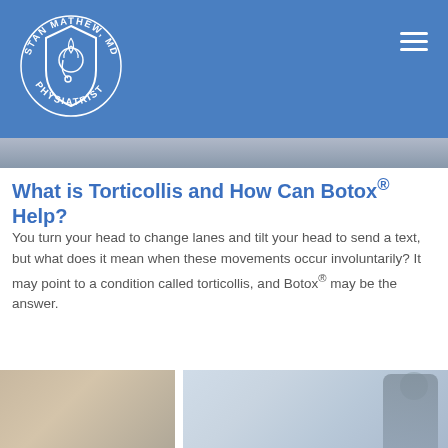[Figure (logo): Stan Mathew MD Physiatrist circular logo in white on blue background]
[Figure (photo): Banner photo strip showing partial view of a person]
What is Torticollis and How Can Botox® Help?
You turn your head to change lanes and tilt your head to send a text, but what does it mean when these movements occur involuntarily? It may point to a condition called torticollis, and Botox® may be the answer.
[Figure (photo): Two photos side by side: left shows a close-up of a person's neck/shoulder, right shows a man wearing glasses in a light-colored shirt]